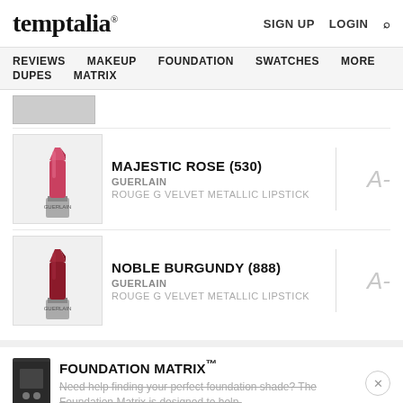temptalia® | SIGN UP | LOGIN | Search
REVIEWS | MAKEUP | FOUNDATION | SWATCHES | MORE | DUPES | MATRIX
[Figure (photo): Partially visible product thumbnail at top of list]
[Figure (photo): Guerlain Majestic Rose (530) Rouge G Velvet Metallic Lipstick – pink-red lipstick swatch photo]
MAJESTIC ROSE (530)
GUERLAIN
ROUGE G VELVET METALLIC LIPSTICK
A-
[Figure (photo): Guerlain Noble Burgundy (888) Rouge G Velvet Metallic Lipstick – dark red lipstick swatch photo]
NOBLE BURGUNDY (888)
GUERLAIN
ROUGE G VELVET METALLIC LIPSTICK
A-
FOUNDATION MATRIX™
Need help finding your perfect foundation shade? The Foundation Matrix is designed to help.